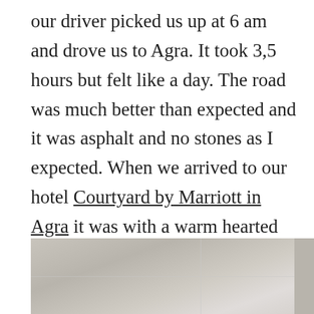our driver picked us up at 6 am and drove us to Agra. It took 3,5 hours but felt like a day. The road was much better than expected and it was asphalt and no stones as I expected. When we arrived to our hotel Courtyard by Marriott in Agra it was with a warm hearted welcome from the staff after passing through two security checkpoints which felt really good that they had. Although we arrived well ahead of check in time we immediately got the room. A service that I really appreciate.
[Figure (photo): Partial view of a hotel room or building interior, showing a ceiling or wall surface in light/white tones with subtle texture details.]